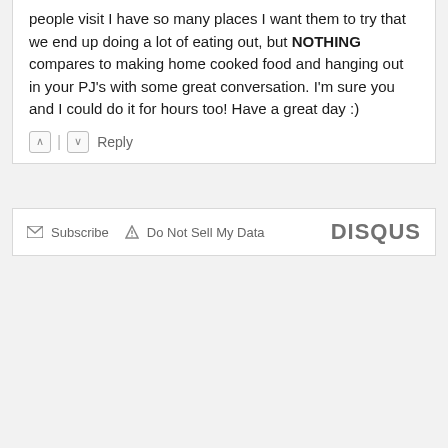people visit I have so many places I want them to try that we end up doing a lot of eating out, but NOTHING compares to making home cooked food and hanging out in your PJ's with some great conversation. I'm sure you and I could do it for hours too! Have a great day :)
↑ | ↓   Reply
✉ Subscribe  ▲ Do Not Sell My Data   DISQUS